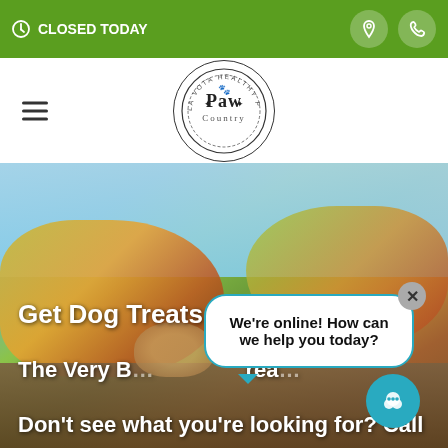CLOSED TODAY
[Figure (logo): Paw Country circular logo with paw prints and stars]
[Figure (photo): Blurred outdoor background with a dog, fall foliage and sky]
Get Dog Treats for Dogs in La
The Very B... rea...
Don't see what you're looking for? Call
We're online! How can we help you today?